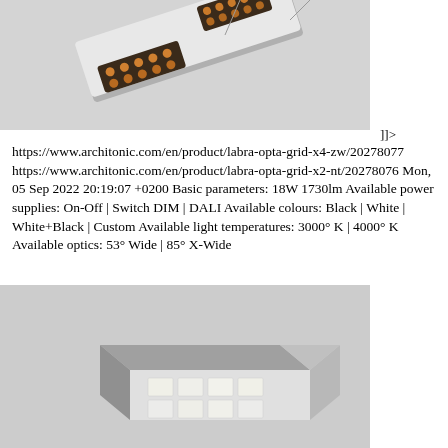[Figure (photo): Suspended linear LED lighting fixture (Labra Opta Grid) shown diagonally against a light grey background, with gold/copper colored LED modules visible.]
]]> https://www.architonic.com/en/product/labra-opta-grid-x4-zw/20278077 https://www.architonic.com/en/product/labra-opta-grid-x2-nt/20278076 Mon, 05 Sep 2022 20:19:07 +0200 Basic parameters: 18W 1730lm Available power supplies: On-Off | Switch DIM | DALI Available colours: Black | White | White+Black | Custom Available light temperatures: 3000° K | 4000° K Available optics: 53° Wide | 85° X-Wide
[Figure (photo): Ceiling-mounted rectangular LED lighting fixture (Labra Opta Grid) shown at an angle against a light grey background, with white diffused LED panels visible on the underside.]